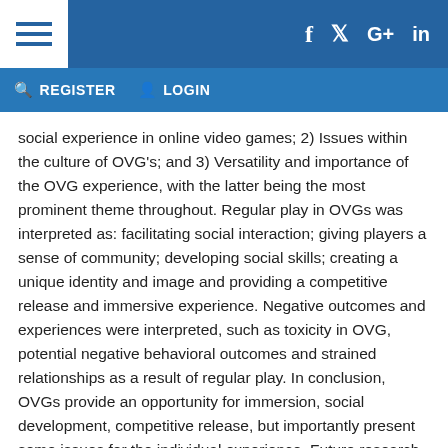≡  f  𝕲+  in  REGISTER  LOGIN
social experience in online video games; 2) Issues within the culture of OVG's; and 3) Versatility and importance of the OVG experience, with the latter being the most prominent theme throughout. Regular play in OVGs was interpreted as: facilitating social interaction; giving players a sense of community; developing social skills; creating a unique identity and image and providing a competitive release and immersive experience. Negative outcomes and experiences were interpreted, such as toxicity in OVG, potential negative behavioral outcomes and strained relationships as a result of regular play. In conclusion, OVGs provide an opportunity for immersion, social development, competitive release, but importantly present some issues for the individual experience. Future research should focus on the social and problematic aspects of the OVG experience.